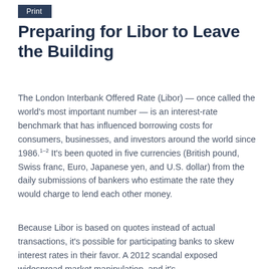Print
Preparing for Libor to Leave the Building
The London Interbank Offered Rate (Libor) — once called the world's most important number — is an interest-rate benchmark that has influenced borrowing costs for consumers, businesses, and investors around the world since 1986.1–2 It's been quoted in five currencies (British pound, Swiss franc, Euro, Japanese yen, and U.S. dollar) from the daily submissions of bankers who estimate the rate they would charge to lend each other money.
Because Libor is based on quotes instead of actual transactions, it's possible for participating banks to skew interest rates in their favor. A 2012 scandal exposed widespread market manipulation, and it's